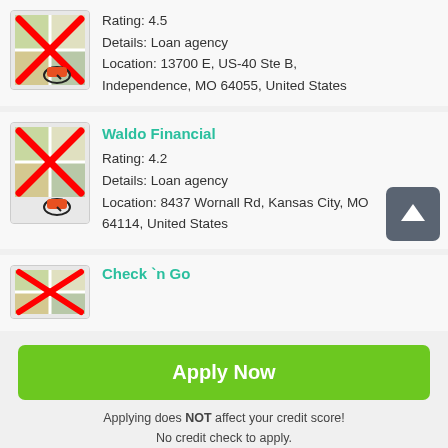[Figure (screenshot): Map icon with red X overlay for first loan agency listing]
Rating: 4.5
Details: Loan agency
Location: 13700 E, US-40 Ste B, Independence, MO 64055, United States
[Figure (screenshot): Map icon with red X overlay for Waldo Financial listing]
Waldo Financial
Rating: 4.2
Details: Loan agency
Location: 8437 Wornall Rd, Kansas City, MO 64114, United States
[Figure (screenshot): Map icon with red X overlay for Check n Go listing]
Check `n Go
Apply Now
Applying does NOT affect your credit score!
No credit check to apply.